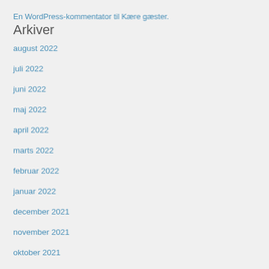En WordPress-kommentator til Kære gæster.
Arkiver
august 2022
juli 2022
juni 2022
maj 2022
april 2022
marts 2022
februar 2022
januar 2022
december 2021
november 2021
oktober 2021